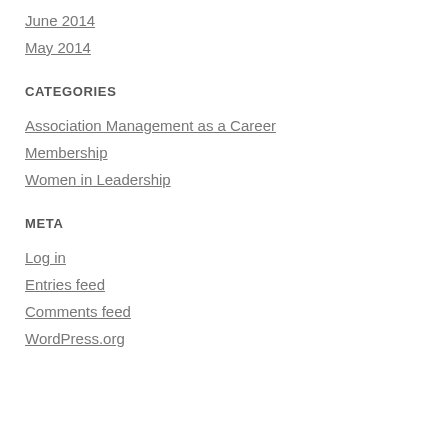June 2014
May 2014
CATEGORIES
Association Management as a Career
Membership
Women in Leadership
META
Log in
Entries feed
Comments feed
WordPress.org